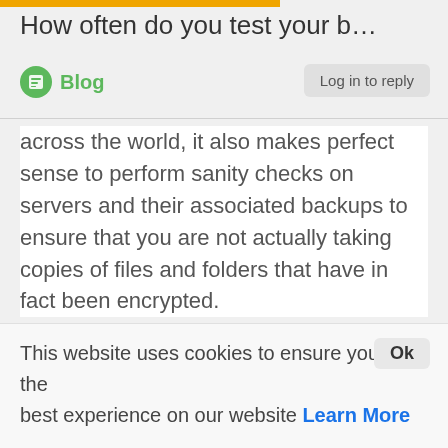How often do you test your b...
Blog
Log in to reply
across the world, it also makes perfect sense to perform sanity checks on servers and their associated backups to ensure that you are not actually taking copies of files and folders that have in fact been encrypted.
Hit with ransomware ? No problem – we'll restore from backup
...until you discover that your backups are also full...
This website uses cookies to ensure you get the best experience on our website Learn More